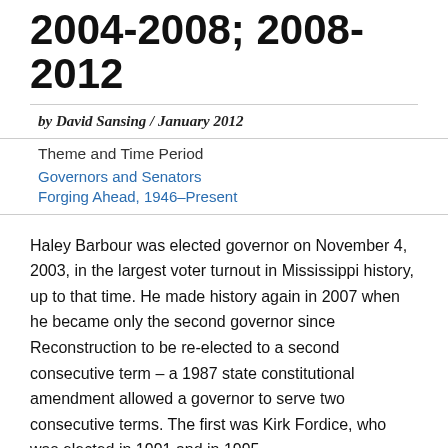2004-2008; 2008-2012
by David Sansing / January 2012
Theme and Time Period
Governors and Senators
Forging Ahead, 1946–Present
Haley Barbour was elected governor on November 4, 2003, in the largest voter turnout in Mississippi history, up to that time. He made history again in 2007 when he became only the second governor since Reconstruction to be re-elected to a second consecutive term – a 1987 state constitutional amendment allowed a governor to serve two consecutive terms. The first was Kirk Fordice, who was elected in 1991 and in 1995.